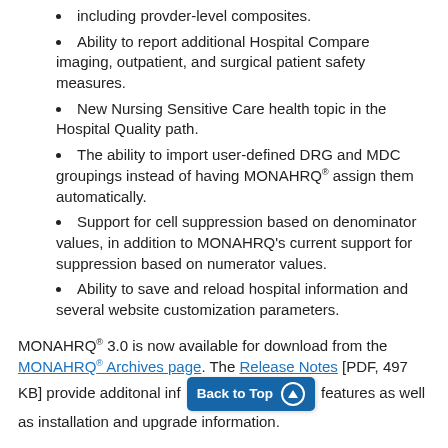including provder-level composites.
Ability to report additional Hospital Compare imaging, outpatient, and surgical patient safety measures.
New Nursing Sensitive Care health topic in the Hospital Quality path.
The ability to import user-defined DRG and MDC groupings instead of having MONAHRQ® assign them automatically.
Support for cell suppression based on denominator values, in addition to MONAHRQ's current support for suppression based on numerator values.
Ability to save and reload hospital information and several website customization parameters.
MONAHRQ® 3.0 is now available for download from the MONAHRQ® Archives page. The Release Notes [PDF, 497 KB] provide additonal inf Back to Top features as well as installation and upgrade information.